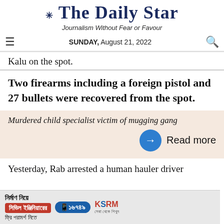The Daily Star — Journalism Without Fear or Favour — SUNDAY, August 21, 2022
Kalu on the spot.
Two firearms including a foreign pistol and 27 bullets were recovered from the spot.
Murdered child specialist victim of mugging gang
Read more
Yesterday, Rab arrested a human hauler driver
[Figure (other): Advertisement banner: KSRM — civil engineering consultation — phone number 16749]